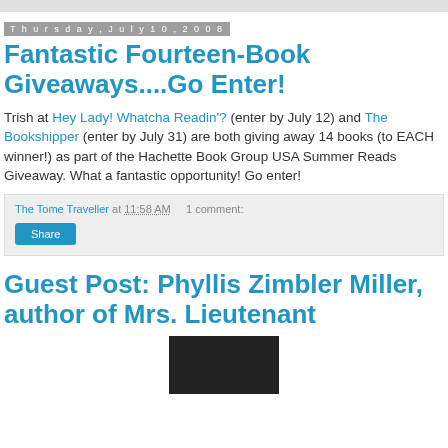Thursday, July 10, 2008
Fantastic Fourteen-Book Giveaways....Go Enter!
Trish at Hey Lady! Whatcha Readin'? (enter by July 12) and The Bookshipper (enter by July 31) are both giving away 14 books (to EACH winner!) as part of the Hachette Book Group USA Summer Reads Giveaway. What a fantastic opportunity! Go enter!
The Tome Traveller at 11:58 AM   1 comment:
Guest Post: Phyllis Zimbler Miller, author of Mrs. Lieutenant
[Figure (photo): Book cover image partially visible at bottom of page]